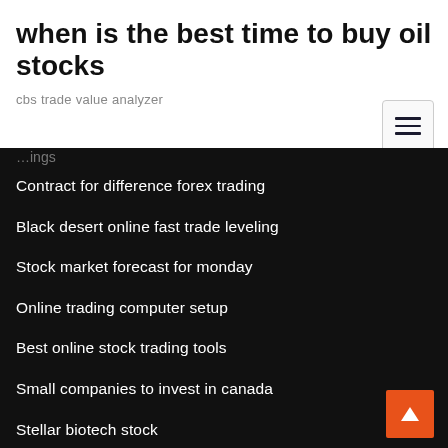when is the best time to buy oil stocks
cbs trade value analyzer
Contract for difference forex trading
Black desert online fast trade leveling
Stock market forecast for monday
Online trading computer setup
Best online stock trading tools
Small companies to invest in canada
Stellar biotech stock
Live trade forex